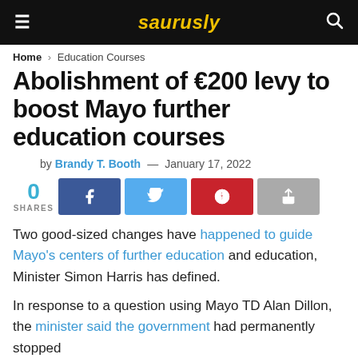saurusly
Home > Education Courses
Abolishment of €200 levy to boost Mayo further education courses
by Brandy T. Booth — January 17, 2022
0 SHARES [Facebook] [Twitter] [Pinterest] [Share]
Two good-sized changes have happened to guide Mayo's centers of further education and education, Minister Simon Harris has defined.
In response to a question using Mayo TD Alan Dillon, the minister said the government had permanently stopped